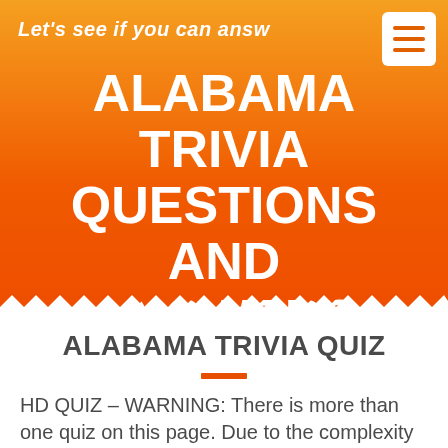Let's see if you can answ
ALABAMA TRIVIA QUESTIONS AND ANSWERS
ALABAMA TRIVIA QUIZ
HD QUIZ – WARNING: There is more than one quiz on this page. Due to the complexity of HD Quiz, only one